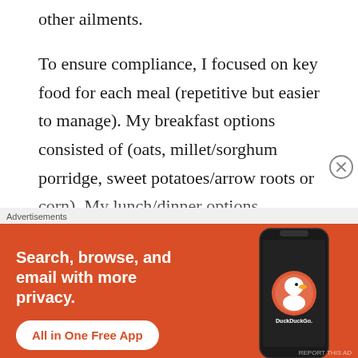other ailments.
To ensure compliance, I focused on key food for each meal (repetitive but easier to manage). My breakfast options consisted of (oats, millet/sorghum porridge, sweet potatoes/arrow roots or corn). My lunch/dinner options consisted of (potatoes (irish or sweet baked or mashed), beans
[Figure (screenshot): DuckDuckGo advertisement banner with orange background. Text reads: 'Search, browse, and email with more privacy. All in One Free App'. Shows a DuckDuckGo logo on a phone mockup.]